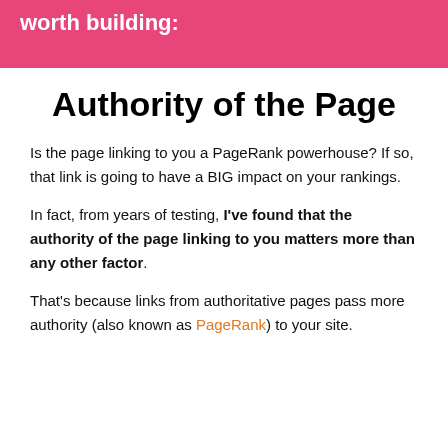worth building:
Authority of the Page
Is the page linking to you a PageRank powerhouse? If so, that link is going to have a BIG impact on your rankings.
In fact, from years of testing, I've found that the authority of the page linking to you matters more than any other factor.
That's because links from authoritative pages pass more authority (also known as PageRank) to your site.